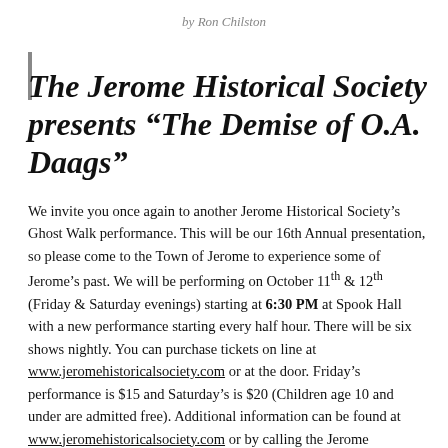by Ron Chilston
The Jerome Historical Society presents “The Demise of O.A. Daags”
We invite you once again to another Jerome Historical Society’s Ghost Walk performance. This will be our 16th Annual presentation, so please come to the Town of Jerome to experience some of Jerome’s past. We will be performing on October 11th & 12th (Friday & Saturday evenings) starting at 6:30 PM at Spook Hall with a new performance starting every half hour. There will be six shows nightly. You can purchase tickets on line at www.jeromehistoricalsociety.com or at the door. Friday’s performance is $15 and Saturday’s is $20 (Children age 10 and under are admitted free). Additional information can be found at www.jeromehistoricalsociety.com or by calling the Jerome Historical Society at 928-634-1066.